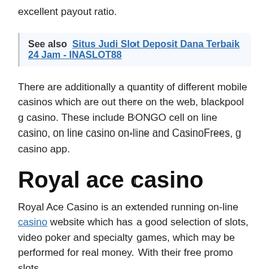excellent payout ratio.
See also  Situs Judi Slot Deposit Dana Terbaik 24 Jam - INASLOT88
There are additionally a quantity of different mobile casinos which are out there on the web, blackpool g casino. These include BONGO cell on line casino, on line casino on-line and CasinoFrees, g casino app.
Royal ace casino
Royal Ace Casino is an extended running on-line casino website which has a good selection of slots, video poker and specialty games, which may be performed for real money. With their free promo slots